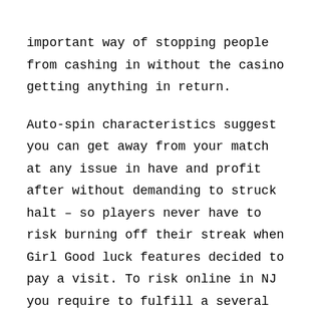important way of stopping people from cashing in without the casino getting anything in return.

Auto-spin characteristics suggest you can get away from your match at any issue in have and profit after without demanding to struck halt – so players never have to risk burning off their streak when Girl Good luck features decided to pay a visit. To risk online in NJ you require to fulfill a several fundamental needs arranged by the New Jersey Video games Capacity and NJ playing internet websites. This is definitely, without a question, a person of the bare factors that motivate persons to have fun with on mobile or portable casinos. A significant percentage of all gaming on the web functions on the internet gambling